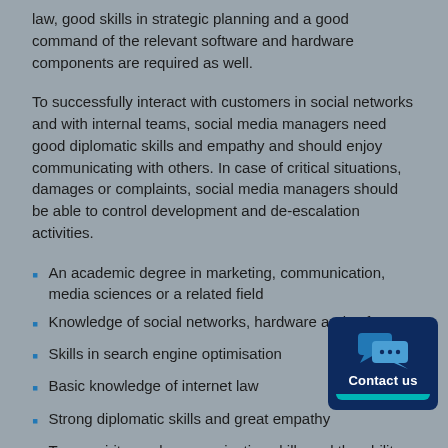law, good skills in strategic planning and a good command of the relevant software and hardware components are required as well.
To successfully interact with customers in social networks and with internal teams, social media managers need good diplomatic skills and empathy and should enjoy communicating with others. In case of critical situations, damages or complaints, social media managers should be able to control development and de-escalation activities.
An academic degree in marketing, communication, media sciences or a related field
Knowledge of social networks, hardware and soft…
Skills in search engine optimisation
Basic knowledge of internet law
Strong diplomatic skills and great empathy
Team spirit, good communication skills and the ability to deal with critical situations